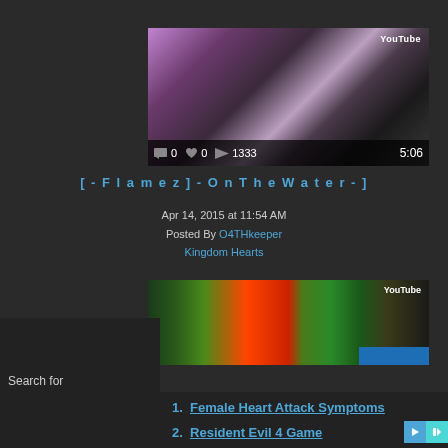[Figure (screenshot): YouTube video thumbnail with purple/dark abstract scene, showing stats bar: 0 comments, 0 likes, 1333 plays, duration 5:06]
[ - Flamez ] - On The Water - ]
Apr 14, 2015 at 11:54 AM
Posted By O4THkeeper
Kingdom Hearts
[Figure (screenshot): YouTube video thumbnail showing colorful game scene with yellow/green/red colors]
Search for
1. Female Heart Attack Symptoms
2. Resident Evil 4 Game